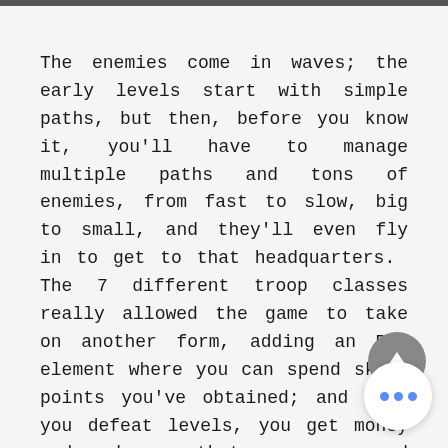The enemies come in waves; the early levels start with simple paths, but then, before you know it, you'll have to manage multiple paths and tons of enemies, from fast to slow, big to small, and they'll even fly in to get to that headquarters. The 7 different troop classes really allowed the game to take on another form, adding an RPG element where you can spend skill points you've obtained; and when you defeat levels, you get money and red gems that you can spend to upgrade your troops further with better guns and armor.
The epic boss fights were a pleasant